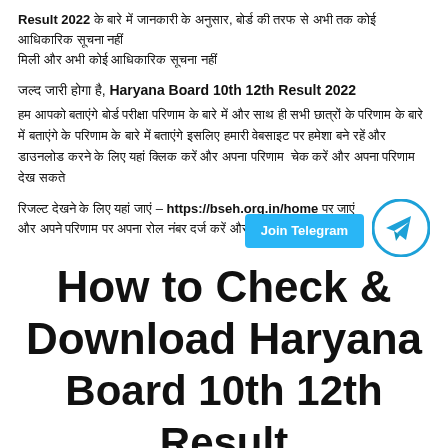Result 2022 के बारे में जानकारी के अनुसार, बोर्ड की तरफ से अभी तक कोई आधिकारिक सूचना नहीं
जल्द जारी होगा है, Haryana Board 10th 12th Result 2022
हम आपको बताएंगे बोर्ड परीक्षा परिणाम के बारे में और साथ ही सभी छात्रों के परिणाम के बारे में बताएंगे इसलिए हमारी वेबसाइट पर हमेशा बने रहें और डाउनलोड करने के लिए यहां क्लिक करें और अपना परिणाम चेक करें
रिजल्ट देखने के लिए यहां जाएं – https://bseh.org.in/home पर जाएं और अपने परिणाम पर अपना रोल नंबर दर्ज करें और डाउनलोड
[Figure (other): Join Telegram button with Telegram icon]
How to Check & Download Haryana Board 10th 12th Result